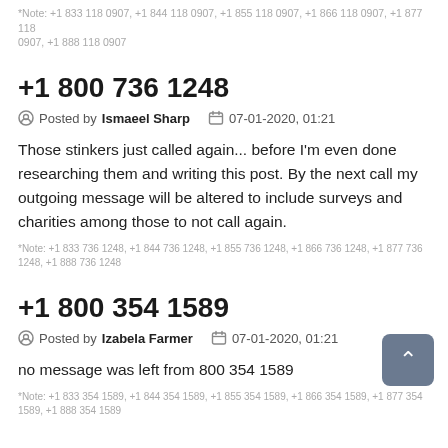*Note: +1 833 118 0907, +1 844 118 0907, +1 855 118 0907, +1 866 118 0907, +1 877 118 0907, +1 888 118 0907
+1 800 736 1248
Posted by Ismaeel Sharp   07-01-2020, 01:21
Those stinkers just called again... before I'm even done researching them and writing this post. By the next call my outgoing message will be altered to include surveys and charities among those to not call again.
*Note: +1 833 736 1248, +1 844 736 1248, +1 855 736 1248, +1 866 736 1248, +1 877 736 1248, +1 888 736 1248
+1 800 354 1589
Posted by Izabela Farmer   07-01-2020, 01:21
no message was left from 800 354 1589
*Note: +1 833 354 1589, +1 844 354 1589, +1 855 354 1589, +1 866 354 1589, +1 877 354 1589, +1 888 354 1589